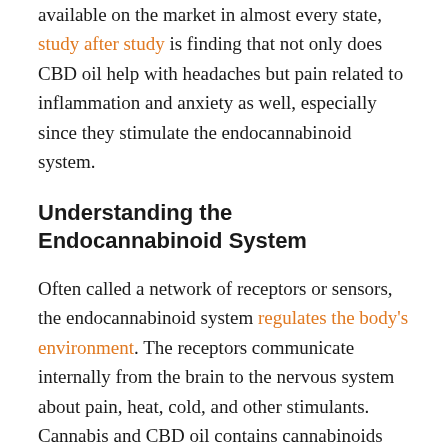available on the market in almost every state, study after study is finding that not only does CBD oil help with headaches but pain related to inflammation and anxiety as well, especially since they stimulate the endocannabinoid system.
Understanding the Endocannabinoid System
Often called a network of receptors or sensors, the endocannabinoid system regulates the body's environment. The receptors communicate internally from the brain to the nervous system about pain, heat, cold, and other stimulants. Cannabis and CBD oil contains cannabinoids that directly help the